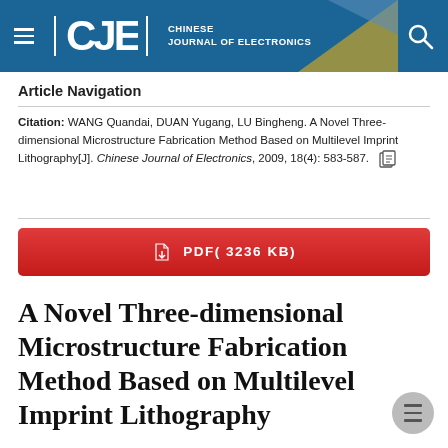CJE | CHINESE JOURNAL OF ELECTRONICS
Article Navigation
Citation: WANG Quandai, DUAN Yugang, LU Bingheng. A Novel Three-dimensional Microstructure Fabrication Method Based on Multilevel Imprint Lithography[J]. Chinese Journal of Electronics, 2009, 18(4): 583-587.
PDF( 3236 KB)
A Novel Three-dimensional Microstructure Fabrication Method Based on Multilevel Imprint Lithography